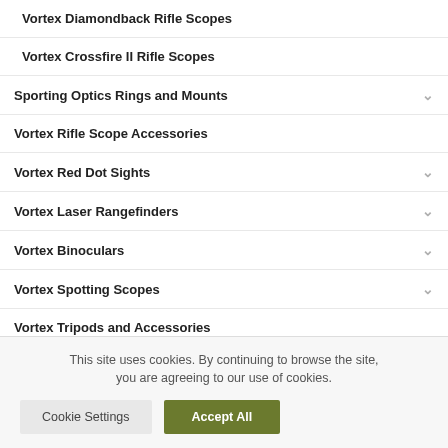Vortex Diamondback Rifle Scopes
Vortex Crossfire II Rifle Scopes
Sporting Optics Rings and Mounts
Vortex Rifle Scope Accessories
Vortex Red Dot Sights
Vortex Laser Rangefinders
Vortex Binoculars
Vortex Spotting Scopes
Vortex Tripods and Accessories
This site uses cookies. By continuing to browse the site, you are agreeing to our use of cookies.